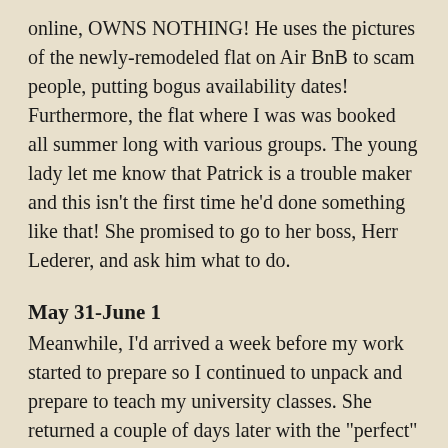online, OWNS NOTHING! He uses the pictures of the newly-remodeled flat on Air BnB to scam people, putting bogus availability dates! Furthermore, the flat where I was was booked all summer long with various groups. The young lady let me know that Patrick is a trouble maker and this isn't the first time he'd done something like that! She promised to go to her boss, Herr Lederer, and ask him what to do.
May 31-June 1
Meanwhile, I'd arrived a week before my work started to prepare so I continued to unpack and prepare to teach my university classes. She returned a couple of days later with the "perfect" solution. I was to move to another place, not far from the city center. I asked to see it.
Another dirty apartment building! Too far away from the city center to walk, the whole point of my first rental. It seems Herr Lederer is a slum lord. The "laundry room" in the basement was filthy with broken machines. It was clear that the apartment, full of spiders, was being kitted out with bed, new linens, apartment-sized refrig., TV, and furniture from IKEA. I told the young woman I would go there temporarily